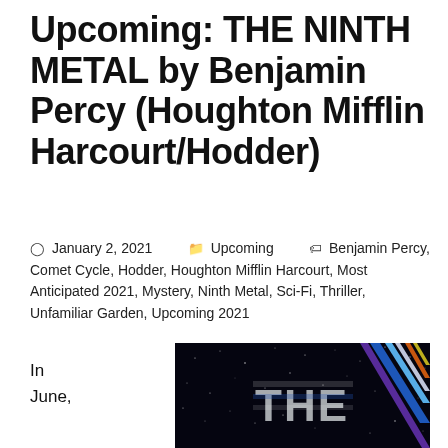Upcoming: THE NINTH METAL by Benjamin Percy (Houghton Mifflin Harcourt/Hodder)
January 2, 2021   Upcoming   Benjamin Percy, Comet Cycle, Hodder, Houghton Mifflin Harcourt, Most Anticipated 2021, Mystery, Ninth Metal, Sci-Fi, Thriller, Unfamiliar Garden, Upcoming 2021
In June,
[Figure (photo): Book cover of The Ninth Metal showing stylized metallic lettering 'THE' on a dark starry background with colorful diagonal streaks in blue, purple, orange, and white]